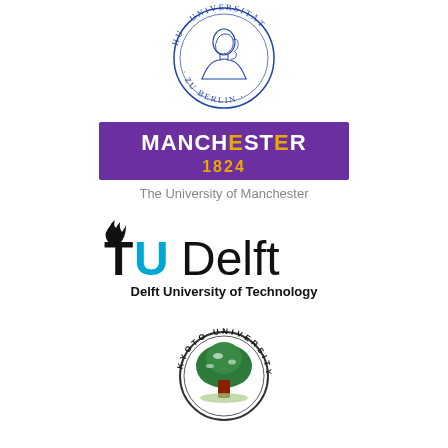[Figure (logo): Humboldt University Berlin circular seal in blue ink, showing a profile portrait in the center with Latin text around the circumference reading HU·ZU BERLIN·UNIVERSITAT]
[Figure (logo): University of Manchester logo: purple rectangle with white text MANCHESTER and yellow text 1824, with tagline The University of Manchester in grey below]
[Figure (logo): TU Delft logo: stylized flame above letters TU in black with U in blue, followed by Delft in black, with Delft University of Technology in bold black below]
[Figure (logo): Kyoto University circular seal showing a large green tree with red trunk on a white background, with text KYOTO UNIVERSITY around the circumference]